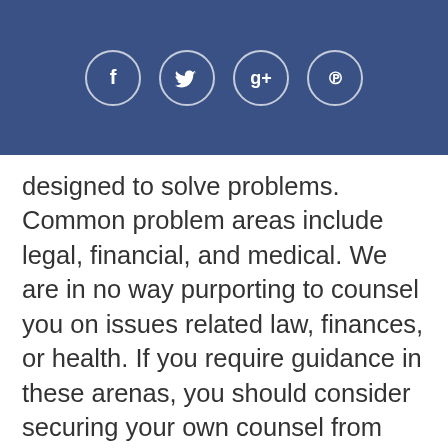[Figure (other): Social media share icons in circles: Facebook (f), Twitter (bird), Google+ (g+), Pinterest (p) on a dark blue background banner]
designed to solve problems. Common problem areas include legal, financial, and medical. We are in no way purporting to counsel you on issues related law, finances, or health. If you require guidance in these arenas, you should consider securing your own counsel from lawyers, accountants, tax professionals, investment advisors, or medical professionals before taking any action. Nothing we may ever communicate at WorkingWithBurt Inc., in print or